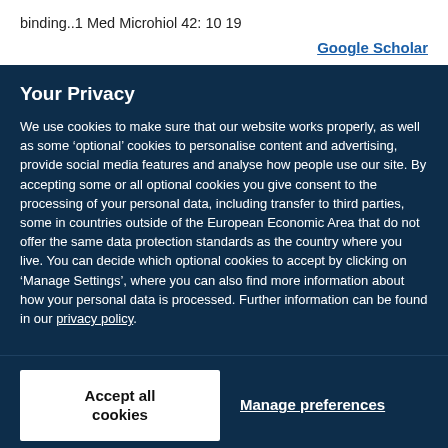binding..1 Med Microhiol 42: 10 19
Google Scholar
Your Privacy
We use cookies to make sure that our website works properly, as well as some ‘optional’ cookies to personalise content and advertising, provide social media features and analyse how people use our site. By accepting some or all optional cookies you give consent to the processing of your personal data, including transfer to third parties, some in countries outside of the European Economic Area that do not offer the same data protection standards as the country where you live. You can decide which optional cookies to accept by clicking on ‘Manage Settings’, where you can also find more information about how your personal data is processed. Further information can be found in our privacy policy.
Accept all cookies
Manage preferences